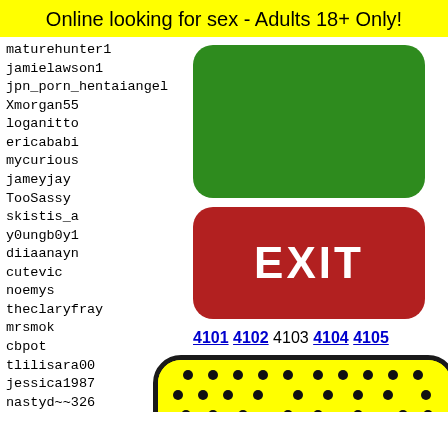Online looking for sex - Adults 18+ Only!
maturehunter1
jamielawson1
jpn_porn_hentaiangel
Xmorgan55
loganitto
ericababi
mycurious
jameyjay
TooSassy
skistis_a
y0ungb0y1
diiaanayn
cutevic
noemys
theclaryfray
mrsmok
cbpot
tlilisara00
jessica1987
nastyd**326
toxiqu
sterko
philad
jeonju
superl
allann
[Figure (other): Green rounded rectangle button (no text)]
[Figure (other): Red rounded rectangle EXIT button with white bold text EXIT]
4101 4102 4103 4104 4105
[Figure (illustration): Snapchat ghost logo on yellow background with black rounded border, showing dotted pattern and ghost face]